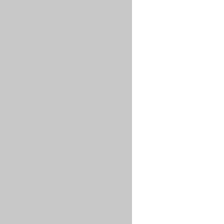duets, "Gluntarne", with ano
11th - 17th June
Once again in Stockholm. Din Also visits and dines with the
18 June
Departs Stockholm for a 14- the outward journey he over courtyard of the inn. In many vicarage of Rural Dean Wilhe cultivated, pleasant people. I Jette Wulff on 24th June). An
"At one place where I ch that he invited me in for whole town was talking, a spread like wild-fire, thr in several places, as well
Takes part in a moving Mids